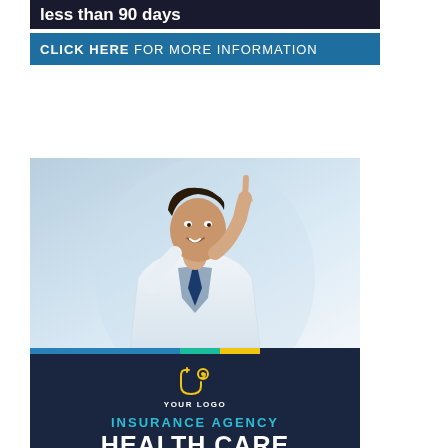less than 90 days
CLICK HERE FOR MORE INFORMATION
[Figure (photo): Doctor in white lab coat smiling and pointing index finger upward, light blue/grey background]
[Figure (logo): Stethoscope icon in yellow outline with text YOUR LOGO]
INSURANCE AGENCY
HEALTH CARE
SOLUTION